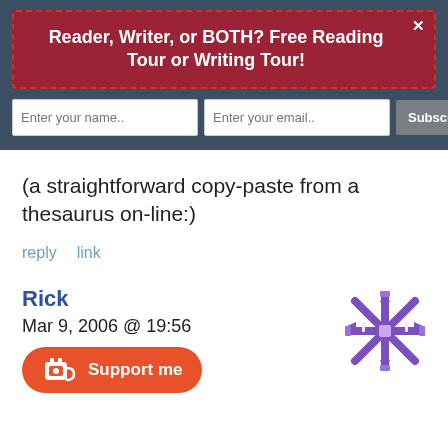Reader, Writer, or BOTH? Free Reading Tour or Writing Tour!
(a straightforward copy-paste from a thesaurus on-line:)
reply   link
Rick
Mar 9, 2006 @ 19:56
Support me